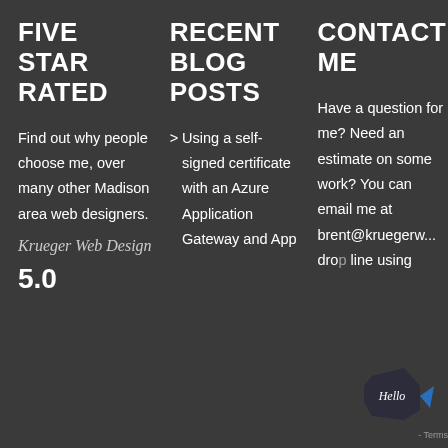FIVE STAR RATED
Find out why people choose me, over many other Madison area web designers.
Krueger Web Design
5.0
RECENT BLOG POSTS
> Using a self-signed certificate with an Azure Application Gateway and App
CONTACT ME
Have a question for me? Need an estimate on some work? You can email me at brent@kruegerw... drop... line using